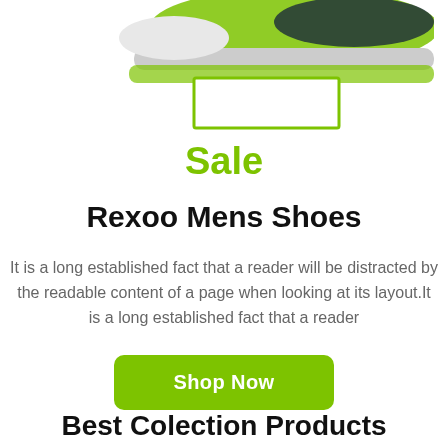[Figure (photo): Partial view of a green and grey athletic shoe (Rexoo Mens Shoes) with a lime green outlined rectangle below it, cropped at the top of the page.]
Sale
Rexoo Mens Shoes
It is a long established fact that a reader will be distracted by the readable content of a page when looking at its layout.It is a long established fact that a reader
Shop Now
Best Colection Products